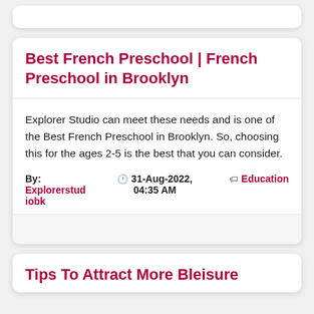Best French Preschool | French Preschool in Brooklyn
Explorer Studio can meet these needs and is one of the Best French Preschool in Brooklyn. So, choosing this for the ages 2-5 is the best that you can consider.
By: Explorerstudiobk   🕐 31-Aug-2022, 04:35 AM   🏷 Education
Tips To Attract More Bleisure